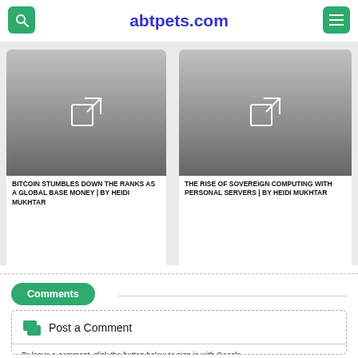abtpets.com
[Figure (screenshot): Article card image 1 – gray gradient placeholder with external link icon]
BITCOIN STUMBLES DOWN THE RANKS AS A GLOBAL BASE MONEY | by heidi mukhtar
[Figure (screenshot): Article card image 2 – gray gradient placeholder with external link icon]
THE RISE OF SOVEREIGN COMPUTING WITH PERSONAL SERVERS | by heidi mukhtar
Comments
Post a Comment
To leave a comment, click the button below to sign in with Google.